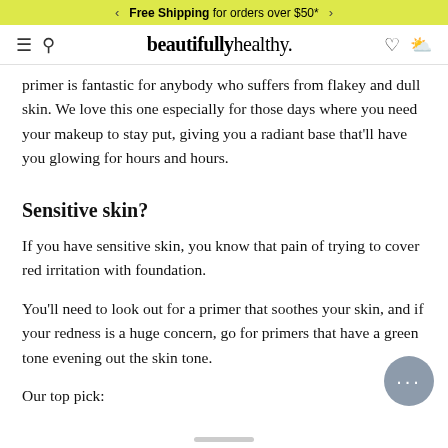Free Shipping for orders over $50*
beautifullyhealthy.
primer is fantastic for anybody who suffers from flakey and dull skin. We love this one especially for those days where you need your makeup to stay put, giving you a radiant base that'll have you glowing for hours and hours.
Sensitive skin?
If you have sensitive skin, you know that pain of trying to cover red irritation with foundation.
You'll need to look out for a primer that soothes your skin, and if your redness is a huge concern, go for primers that have a green tone evening out the skin tone.
Our top pick: